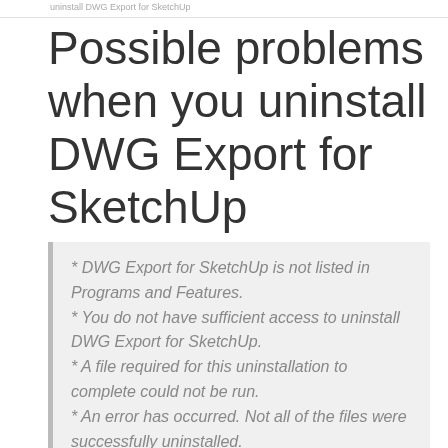uninstall DWG Export for SketchUp
Possible problems when you uninstall DWG Export for SketchUp
* DWG Export for SketchUp is not listed in Programs and Features.
* You do not have sufficient access to uninstall DWG Export for SketchUp.
* A file required for this uninstallation to complete could not be run.
* An error has occurred. Not all of the files were successfully uninstalled.
* Another process that is using the file stops DWG Export for SketchUp being uninstalled.